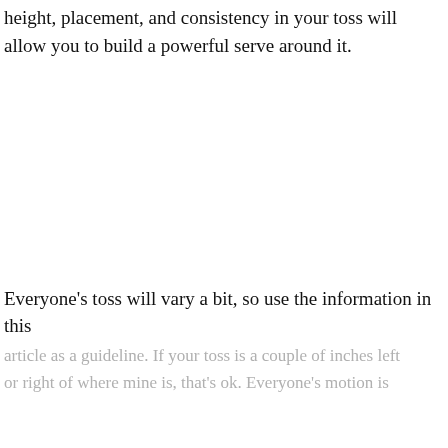height, placement, and consistency in your toss will allow you to build a powerful serve around it.
Everyone's toss will vary a bit, so use the information in this article as a guideline. If your toss is a couple of inches left or right of where mine is, that's ok. Everyone's motion is